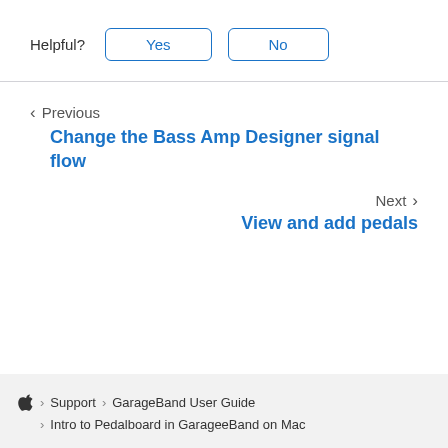Helpful? Yes No
Previous
Change the Bass Amp Designer signal flow
Next
View and add pedals
Apple Support > GarageeBand User Guide > Intro to Pedalboard in GarageeBand on Mac